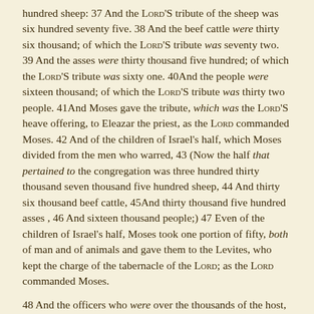hundred sheep: 37 And the LORD'S tribute of the sheep was six hundred seventy five. 38 And the beef cattle were thirty six thousand; of which the LORD'S tribute was seventy two. 39 And the asses were thirty thousand five hundred; of which the LORD'S tribute was sixty one. 40And the people were sixteen thousand; of which the LORD'S tribute was thirty two people. 41And Moses gave the tribute, which was the LORD'S heave offering, to Eleazar the priest, as the LORD commanded Moses. 42 And of the children of Israel's half, which Moses divided from the men who warred, 43 (Now the half that pertained to the congregation was three hundred thirty thousand seven thousand five hundred sheep, 44 And thirty six thousand beef cattle, 45And thirty thousand five hundred asses , 46 And sixteen thousand people;) 47 Even of the children of Israel's half, Moses took one portion of fifty, both of man and of animals and gave them to the Levites, who kept the charge of the tabernacle of the LORD; as the LORD commanded Moses.
48 And the officers who were over the thousands of the host, the captains of thousands and captains of hundreds, came near to Moses: 49 And they said to